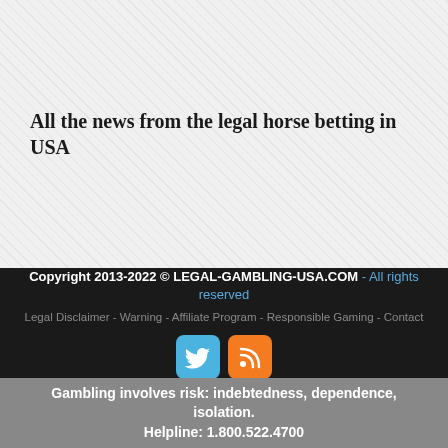All the news from the legal horse betting in USA
Copyright 2013-2022 © LEGAL-GAMBLING-USA.COM - All rights reserved
Legal Disclaimer - Warning - Affiliate Program - Responsible Gaming - Contact
[Figure (illustration): Twitter and RSS social media icons]
Gambling involves risk: indebtedness, dependence, isolation. Helpline: 1.800.522.4700